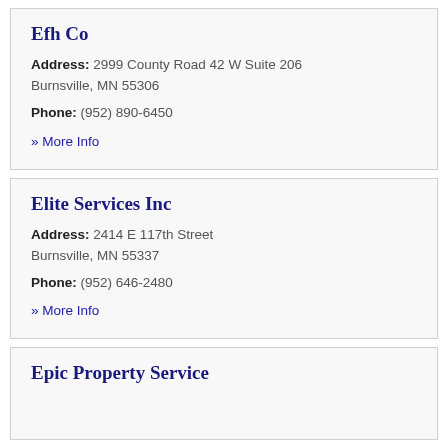Efh Co
Address: 2999 County Road 42 W Suite 206 Burnsville, MN 55306
Phone: (952) 890-6450
» More Info
Elite Services Inc
Address: 2414 E 117th Street Burnsville, MN 55337
Phone: (952) 646-2480
» More Info
Epic Property Service